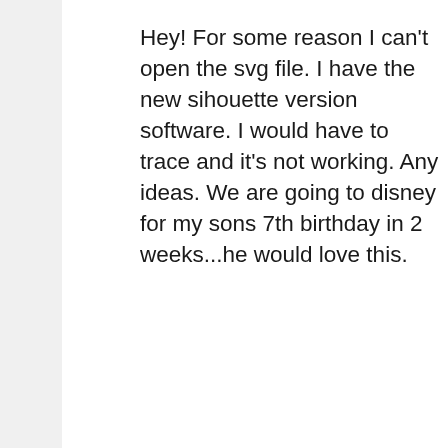Hey! For some reason I can't open the svg file. I have the new sihouette version software. I would have to trace and it's not working. Any ideas. We are going to disney for my sons 7th birthday in 2 weeks...he would love this.
Reply
sewwhatalicia says
February 7, 2020 at 10:17 am